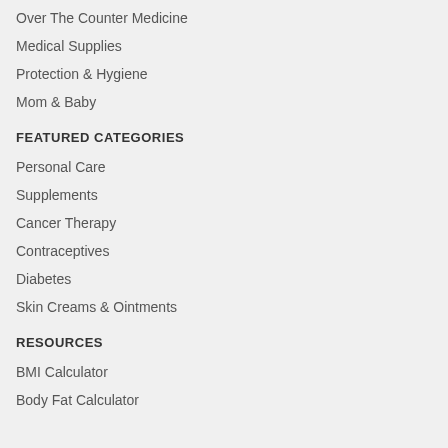Over The Counter Medicine
Medical Supplies
Protection & Hygiene
Mom & Baby
FEATURED CATEGORIES
Personal Care
Supplements
Cancer Therapy
Contraceptives
Diabetes
Skin Creams & Ointments
RESOURCES
BMI Calculator
Body Fat Calculator